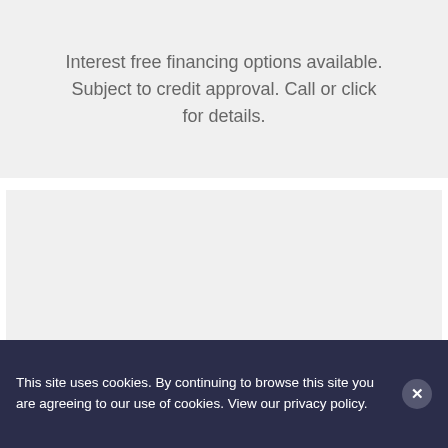Interest free financing options available. Subject to credit approval. Call or click for details.
[Figure (other): Empty gray content block / advertisement placeholder]
This site uses cookies. By continuing to browse this site you are agreeing to our use of cookies. View our privacy policy.